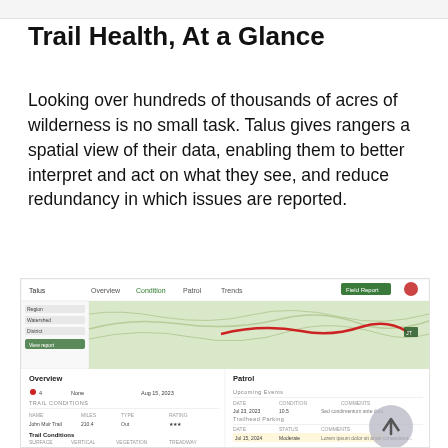Trail Health, At a Glance
Looking over hundreds of thousands of acres of wilderness is no small task. Talus gives rangers a spatial view of their data, enabling them to better interpret and act on what they see, and reduce redundancy in which issues are reported.
[Figure (screenshot): Screenshot of the Talus application interface showing a map view of a trail with red path overlay, and below it two dashboard panels: 'Overview' with trail conditions data table and 'Patrol' with upcoming events and trail status information. A circular back-to-top button is visible in the lower right.]